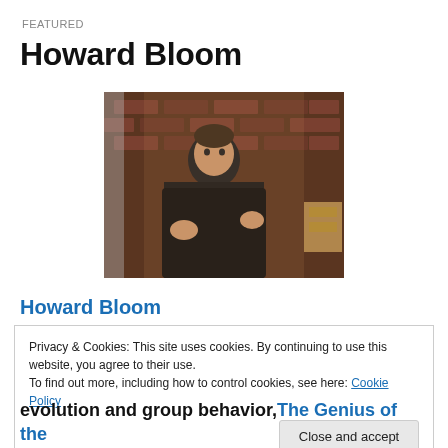FEATURED
Howard Bloom
[Figure (photo): Photo of Howard Bloom, a man in a dark jacket seated in a chair, hands raised, with a brick wall background.]
Howard Bloom
Privacy & Cookies: This site uses cookies. By continuing to use this website, you agree to their use.
To find out more, including how to control cookies, see here: Cookie Policy
[Close and accept button]
evolution and group behavior,The Genius of the